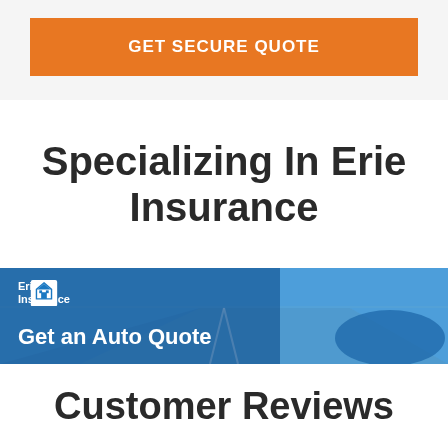GET SECURE QUOTE
Specializing In Erie Insurance
[Figure (infographic): Erie Insurance banner with road background image showing 'Get an Auto Quote' text and Erie Insurance logo]
Customer Reviews